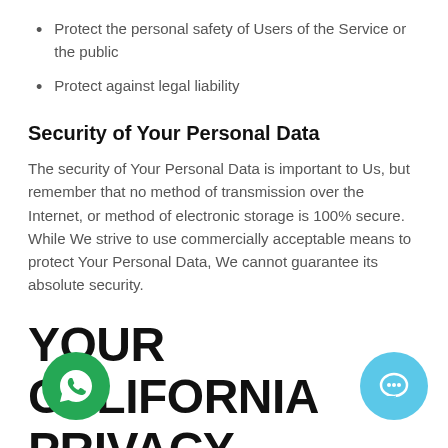Protect the personal safety of Users of the Service or the public
Protect against legal liability
Security of Your Personal Data
The security of Your Personal Data is important to Us, but remember that no method of transmission over the Internet, or method of electronic storage is 100% secure. While We strive to use commercially acceptable means to protect Your Personal Data, We cannot guarantee its absolute security.
YOUR CALIFORNIA PRIVACY RIGHTS (CALIFORNIA'S SHINE THE LIGHT LAW)